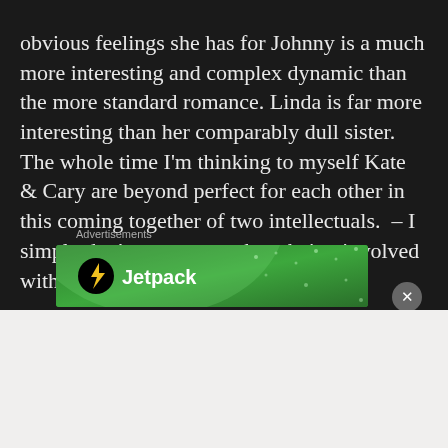obvious feelings she has for Johnny is a much more interesting and complex dynamic than the more standard romance. Linda is far more interesting than her comparably dull sister. The whole time I'm thinking to myself Kate & Cary are beyond perfect for each other in this coming together of two intellectuals.  – I simply don't want to see them being involved with anyone else.
Advertisements
[Figure (advertisement): Jetpack advertisement with green gradient background showing the Jetpack logo (lightning bolt in black circle) and the text 'Jetpack']
ADVERTISEMENTS
[Figure (advertisement): WordPress advertisement on light grey background: 'Professionally designed sites in less than a week' with WordPress logo]
WORDPRESS.COM